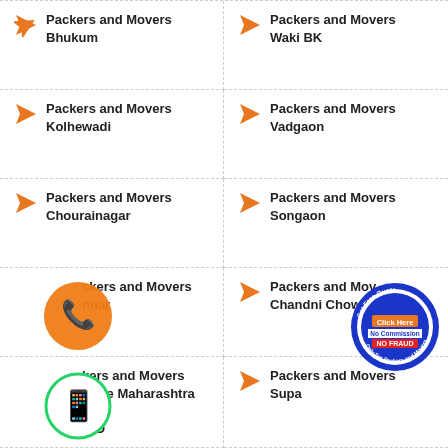Packers and Movers Bhukum
Packers and Movers Waki BK
Packers and Movers Kolhewadi
Packers and Movers Vadgaon
Packers and Movers Chourainagar
Packers and Movers Songaon
Packers and Movers Junnar
Packers and Movers Chandni Chowk
Packers and Movers Pune Maharashtra City H.O
Packers and Movers Supa
[Figure (illustration): Orange phone call button icon]
[Figure (illustration): WhatsApp green phone icon]
[Figure (illustration): Get Free Quote stamp badge - Click Here, No Commission, No Fraud, Only For Packers and Movers]